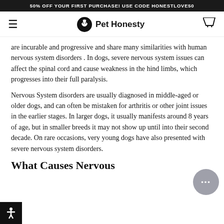50% OFF YOUR FIRST PURCHASE! USE CODE HONESTLOVE50
[Figure (logo): Pet Honesty logo with hamburger menu and cart icon navigation bar]
are incurable and progressive and share many similarities with human nervous system disorders . In dogs, severe nervous system issues can affect the spinal cord and cause weakness in the hind limbs, which progresses into their full paralysis.
Nervous System disorders are usually diagnosed in middle-aged or older dogs, and can often be mistaken for arthritis or other joint issues in the earlier stages. In larger dogs, it usually manifests around 8 years of age, but in smaller breeds it may not show up until into their second decade. On rare occasions, very young dogs have also presented with severe nervous system disorders.
What Causes Nervous